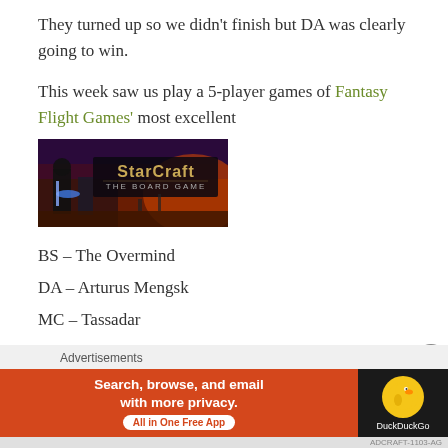They turned up so we didn't finish but DA was clearly going to win.
This week saw us play a 5-player games of Fantasy Flight Games' most excellent
[Figure (photo): StarCraft: The Board Game cover image showing space marines and sci-fi battle scene with the StarCraft: The Board Game logo]
BS – The Overmind
DA – Arturus Mengsk
MC – Tassadar
PH – Jim Raynorr
TS – Aldaris
Advertisements
[Figure (screenshot): DuckDuckGo advertisement banner: Search, browse, and email with more privacy. All in One Free App. Orange background on left, dark background with DuckDuckGo duck logo on right.]